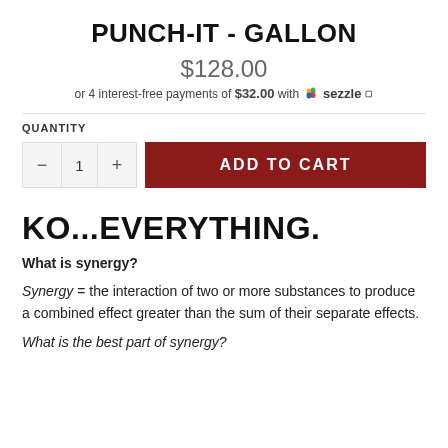PUNCH-IT - GALLON
$128.00
or 4 interest-free payments of $32.00 with Sezzle
QUANTITY
ADD TO CART
KO...EVERYTHING.
What is synergy?
Synergy = the interaction of two or more substances to produce a combined effect greater than the sum of their separate effects.
What is the best part of synergy?